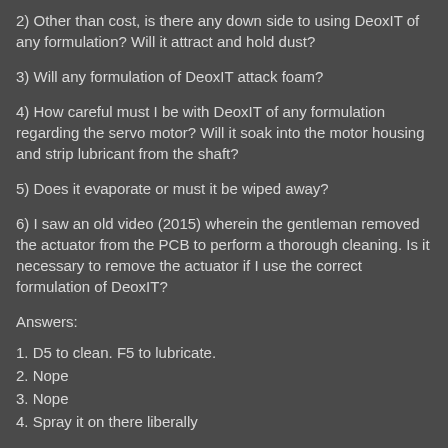2) Other than cost, is there any down side to using DeoxIT of any formulation? Will it attract and hold dust?
3) Will any formulation of DeoxIT attack foam?
4) How careful must I be with DeoxIT of any formulation regarding the servo motor? Will it soak into the motor housing and strip lubricant from the shaft?
5) Does it evaporate or must it be wiped away?
6) I saw an old video (2015) wherein the gentleman removed the actuator from the PCB to perform a thorough cleaning. Is it necessary to remove the actuator if I use the correct formulation of DeoxIT?
Answers:
1. D5 to clean. F5 to lubricate.
2. Nope
3. Nope
4. Spray it on there liberally